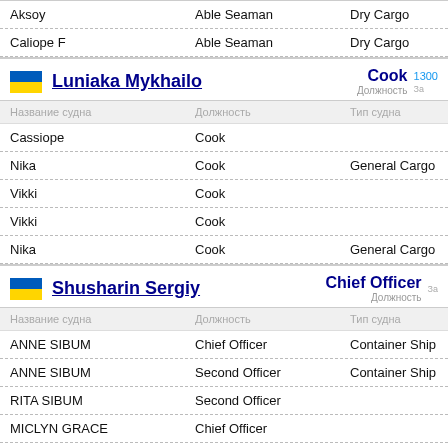| Название судна | Должность | Тип судна |
| --- | --- | --- |
| Aksoy | Able Seaman | Dry Cargo |
| Caliope F | Able Seaman | Dry Cargo |
Luniaka Mykhailo — Cook — 1300
| Название судна | Должность | Тип судна |
| --- | --- | --- |
| Cassiope | Cook |  |
| Nika | Cook | General Cargo |
| Vikki | Cook |  |
| Vikki | Cook |  |
| Nika | Cook | General Cargo |
Shusharin Sergiy — Chief Officer
| Название судна | Должность | Тип судна |
| --- | --- | --- |
| ANNE SIBUM | Chief Officer | Container Ship |
| ANNE SIBUM | Second Officer | Container Ship |
| RITA SIBUM | Second Officer |  |
| MICLYN GRACE | Chief Officer |  |
| MICLYN GRAND | Chief Officer |  |
Second Officer